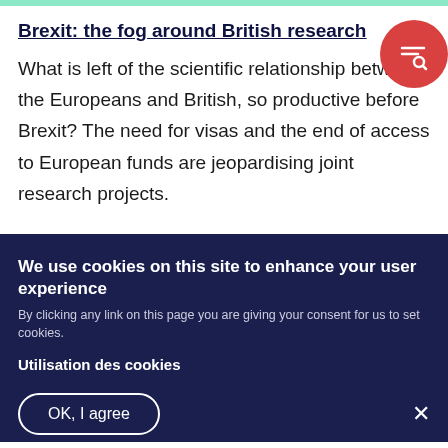Brexit: the fog around British research
What is left of the scientific relationship between the Europeans and British, so productive before Brexit? The need for visas and the end of access to European funds are jeopardising joint research projects.
We use cookies on this site to enhance your user experience
By clicking any link on this page you are giving your consent for us to set cookies.
Utilisation des cookies
OK, I agree